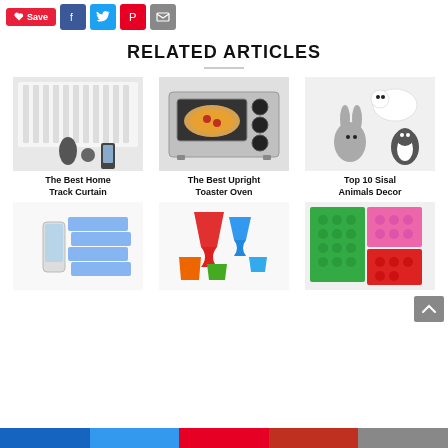Social share buttons: Save, Facebook, Twitter, Pinterest, Email
RELATED ARTICLES
[Figure (photo): The Best Home Track Curtain - smart home blinds with Amazon Echo device]
The Best Home Track Curtain
[Figure (photo): The Best Upright Toaster Oven - stainless steel countertop toaster oven with pizza]
The Best Upright Toaster Oven
[Figure (photo): Top 10 Sisal Animals Decor - felt polar bear, bunny, penguin ornaments]
Top 10 Sisal Animals Decor
[Figure (photo): Vacuum sealer device with blue zipper bags]
[Figure (photo): Colorful collapsible silicone funnels and cups in red, blue, green, orange]
[Figure (photo): Colorful silicone dot mats in green, pink, red, blue, purple]
Navigation bar with social icons